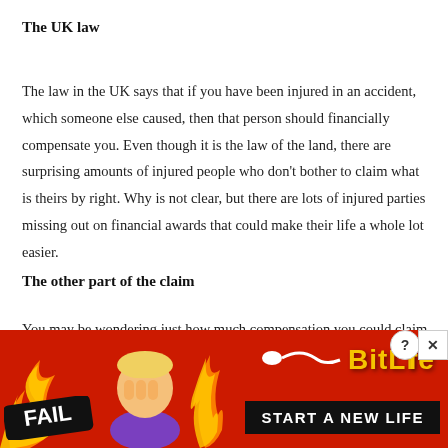The UK law
The law in the UK says that if you have been injured in an accident, which someone else caused, then that person should financially compensate you. Even though it is the law of the land, there are surprising amounts of injured people who don't bother to claim what is theirs by right. Why is not clear, but there are lots of injured parties missing out on financial awards that could make their life a whole lot easier.
The other part of the claim
You may be wondering just how much compensation you could claim from
[Figure (infographic): BitLife mobile game advertisement banner with red background, flame graphics, facepalm emoji character, FAIL badge, BitLife logo with sperm icon, and 'START A NEW LIFE' call-to-action button. Close and help buttons visible in top right corner.]